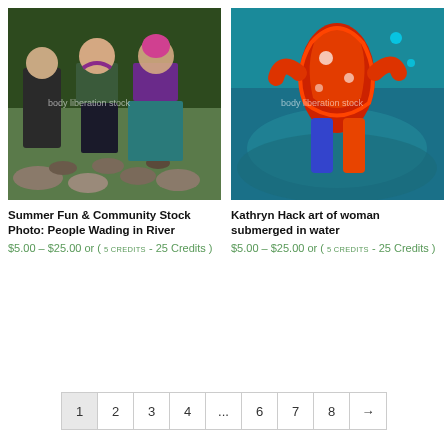[Figure (photo): Two plus-size women in swimwear seen from behind, wading toward a rocky river bank with green forest in background. Watermark: body liberation stock]
[Figure (photo): Colorful digital art by Kathryn Hack showing a woman submerged in water with vivid red, orange, teal, and blue hues. Watermark: body liberation stock]
Summer Fun & Community Stock Photo: People Wading in River
$5.00 – $25.00 or ( 5 CREDITS - 25 Credits )
Kathryn Hack art of woman submerged in water
$5.00 – $25.00 or ( 5 CREDITS - 25 Credits )
1 2 3 4 ... 6 7 8 →